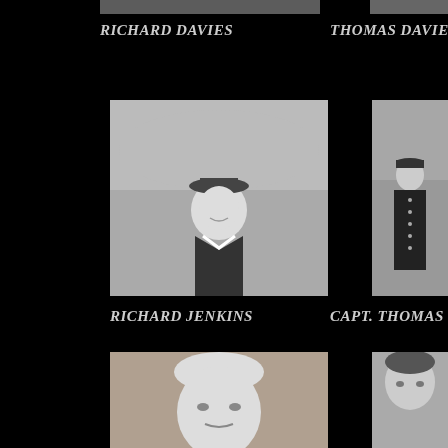[Figure (photo): Partial black and white photo of a person, cropped at top, left column]
[Figure (photo): Partial black and white photo of a person, cropped at top, right column]
RICHARD DAVIES
THOMAS DAVIES
[Figure (photo): Black and white photo of a young man in a sailor uniform smiling, outdoors with crowd in background]
[Figure (photo): Black and white photo of a man in naval officer uniform standing on deck of a ship]
RICHARD JENKINS
CAPT. THOMAS JO
[Figure (photo): Black and white portrait photo of a middle-aged balding man, cropped at bottom]
[Figure (photo): Black and white portrait photo of a younger man with dark hair, cropped at bottom]